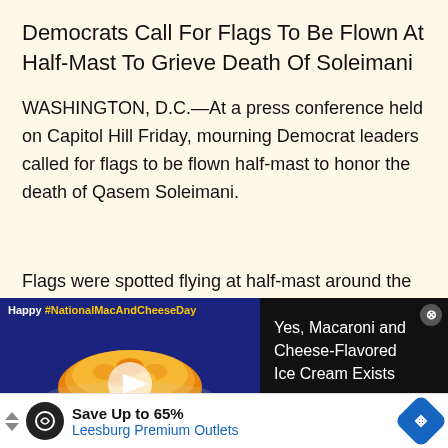Democrats Call For Flags To Be Flown At Half-Mast To Grieve Death Of Soleimani
WASHINGTON, D.C.—At a press conference held on Capitol Hill Friday, mourning Democrat leaders called for flags to be flown half-mast to honor the death of Qasem Soleimani.
Flags were spotted flying at half-mast around the
[Figure (screenshot): Video ad with dark blue background showing a cup of macaroni and cheese with a play button overlay. Text reads: Happy #NationalMacAndCheeseDay]
[Figure (screenshot): Black background ad panel with text: Yes, Macaroni and Cheese-Flavored Ice Cream Exists. Close (X) button in top right.]
[Figure (screenshot): Bottom banner ad: Save Up to 65% Leesburg Premium Outlets with navigation icons and a blue diamond arrow icon.]